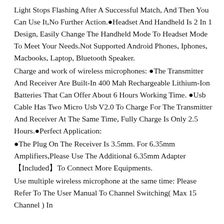Light Stops Flashing After A Successful Match, And Then You Can Use It,No Further Action.●Headset And Handheld Is 2 In 1 Design, Easily Change The Handheld Mode To Headset Mode To Meet Your Needs.Not Supported Android Phones, Iphones, Macbooks, Laptop, Bluetooth Speaker.
Charge and work of wireless microphones: ●The Transmitter And Receiver Are Built-In 400 Mah Rechargeable Lithium-Ion Batteries That Can Offer About 6 Hours Working Time. ●Usb Cable Has Two Micro Usb V2.0 To Charge For The Transmitter And Receiver At The Same Time, Fully Charge Is Only 2.5 Hours.●Perfect Application:
●The Plug On The Receiver Is 3.5mm. For 6.35mm Amplifiers,Please Use The Additional 6.35mm Adapter【Included】To Connect More Equipments.
Use multiple wireless microphone at the same time: Please Refer To The User Manual To Channel Switching( Max 15 Channel ) In